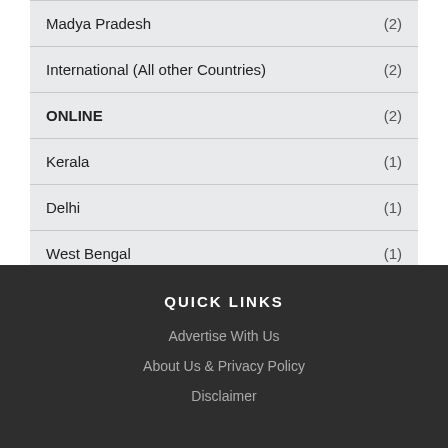Madya Pradesh (2)
International (All other Countries) (2)
ONLINE (2)
Kerala (1)
Delhi (1)
West Bengal (1)
QUICK LINKS
Advertise With Us
About Us & Privacy Policy
Disclaimer